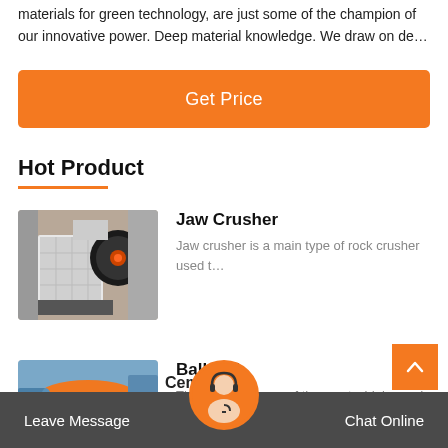materials for green technology, are just some of the champion of our innovative power. Deep material knowledge. We draw on de…
Get Price
Hot Product
Jaw Crusher
Jaw crusher is a main type of rock crusher used t…
[Figure (photo): Jaw Crusher machine photo]
Ball Mill
The ball mill is one of the most widely used sup…
[Figure (photo): Ball Mill machine photo]
Cement…
Leave Message
Chat Online